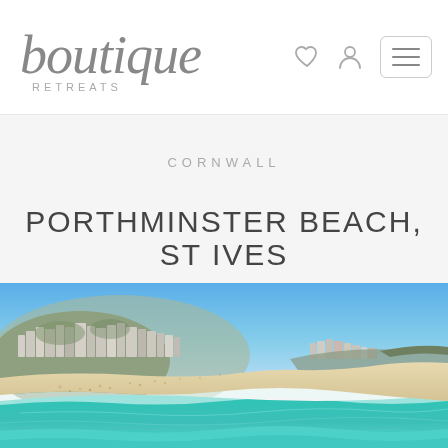boutique RETREATS — navigation header with logo, heart icon, person icon, hamburger menu
CORNWALL
PORTHMINSTER BEACH, ST IVES
[Figure (photo): Aerial view of Porthminster Beach in St Ives, Cornwall — turquoise sea, sandy beach with sunbathers, coastal town with white buildings on a hillside under a clear blue sky]